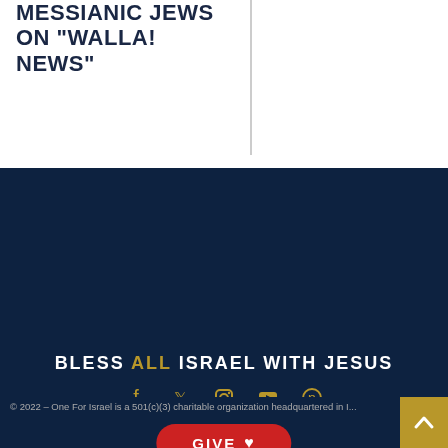MESSIANIC JEWS ON "WALLA! NEWS"
BLESS ALL ISRAEL WITH JESUS
[Figure (infographic): Social media icons: Facebook, Twitter, Instagram, YouTube, Pinterest]
GIVE ♥
[Figure (logo): ONE FOR ISRAEL logo with 'FOR' in a bordered box]
© 2022 – One For Israel is a 501(c)(3) charitable organization headquartered in I...